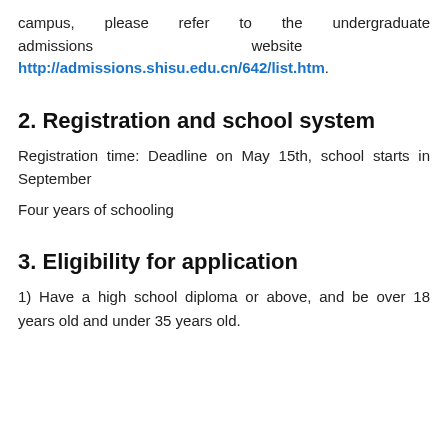campus, please refer to the undergraduate admissions website http://admissions.shisu.edu.cn/642/list.htm.
2. Registration and school system
Registration time: Deadline on May 15th, school starts in September
Four years of schooling
3. Eligibility for application
1) Have a high school diploma or above, and be over 18 years old and under 35 years old.